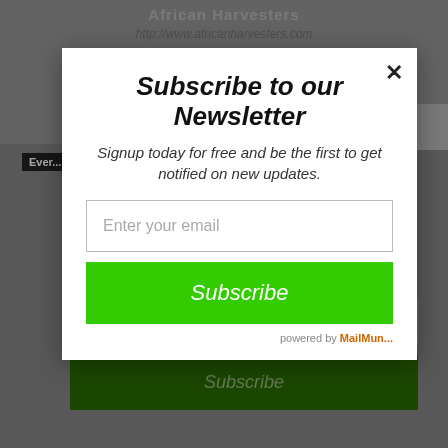http://www.africanharvesters.com
RELATED ARTICLES   MORE FROM S...
[Figure (screenshot): Website screenshot showing a newsletter subscription modal popup over a website background. The modal contains a title 'Subscribe to our Newsletter', subtitle 'Signup today for free and be the first to get notified on new updates.', an email input field, a green Subscribe button, and 'powered by MailMun...' text. Behind the modal is a dark grey website background with navigation tabs and a duplicate subscription form.]